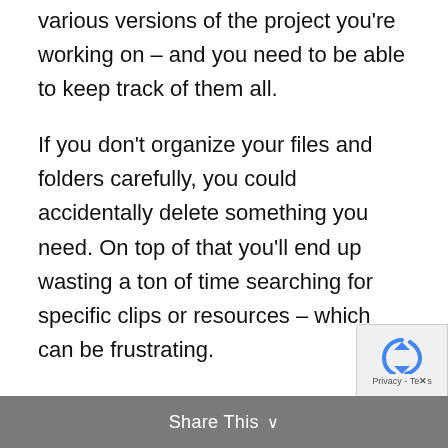various versions of the project you're working on – and you need to be able to keep track of them all.
If you don't organize your files and folders carefully, you could accidentally delete something you need. On top of that you'll end up wasting a ton of time searching for specific clips or resources – which can be frustrating.
Share This ∨